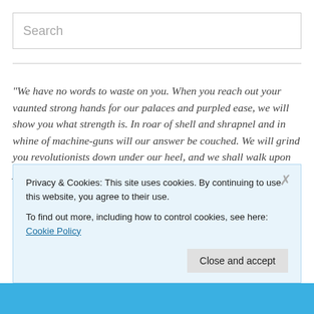Search
"We have no words to waste on you. When you reach out your vaunted strong hands for our palaces and purpled ease, we will show you what strength is. In roar of shell and shrapnel and in whine of machine-guns will our answer be couched. We will grind you revolutionists down under our heel, and we shall walk upon your faces. The world is ours, we are its lords, and ours it shall remain. As for the host of labor, it has been in the dirt since history began, and I read history aright. And in the dirt it
Privacy & Cookies: This site uses cookies. By continuing to use this website, you agree to their use.
To find out more, including how to control cookies, see here: Cookie Policy
Close and accept